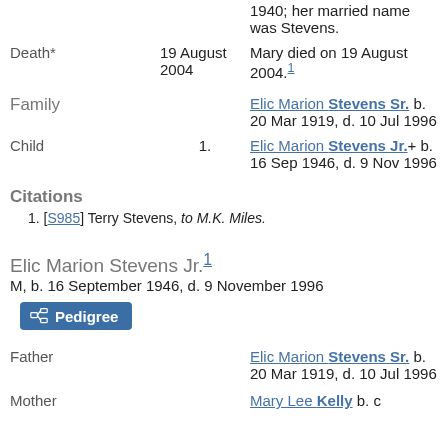1940; her married name was Stevens.
Death* 19 August 2004 Mary died on 19 August 2004.1
Family Elic Marion Stevens Sr. b. 20 Mar 1919, d. 10 Jul 1996
Child 1. Elic Marion Stevens Jr.+ b. 16 Sep 1946, d. 9 Nov 1996
Citations
1. [S985] Terry Stevens, to M.K. Miles.
Elic Marion Stevens Jr.1
M, b. 16 September 1946, d. 9 November 1996
Father Elic Marion Stevens Sr. b. 20 Mar 1919, d. 10 Jul 1996
Mother Mary Lee Kelly b. c